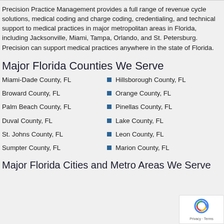Precision Practice Management provides a full range of revenue cycle solutions, medical coding and charge coding, credentialing, and technical support to medical practices in major metropolitan areas in Florida, including Jacksonville, Miami, Tampa, Orlando, and St. Petersburg. Precision can support medical practices anywhere in the state of Florida.
Major Florida Counties We Serve
Miami-Dade County, FL
Hillsborough County, FL
Broward County, FL
Orange County, FL
Palm Beach County, FL
Pinellas County, FL
Duval County, FL
Lake County, FL
St. Johns County, FL
Leon County, FL
Sumpter County, FL
Marion County, FL
Major Florida Cities and Metro Areas We Serve